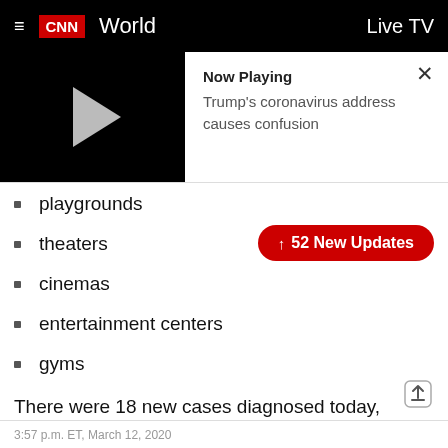CNN World | Live TV
[Figure (screenshot): Video player with play button on black background. Now Playing: Trump's coronavirus address causes confusion. Close (X) button top right.]
playgrounds
theaters
cinemas
entertainment centers
gyms
There were 18 new cases diagnosed today, bringing the total number to 117 cases.
3:57 p.m. ET, March 12, 2020